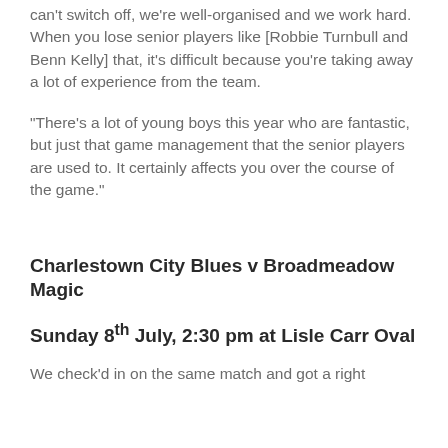can't switch off, we're well-organised and we work hard. When you lose senior players like [Robbie Turnbull and Benn Kelly] that, it's difficult because you're taking away a lot of experience from the team.
“There’s a lot of young boys this year who are fantastic, but just that game management that the senior players are used to. It certainly affects you over the course of the game.”
Charlestown City Blues v Broadmeadow Magic
Sunday 8th July, 2:30 pm at Lisle Carr Oval
Wе chеckеd in on thе samе match and got a right